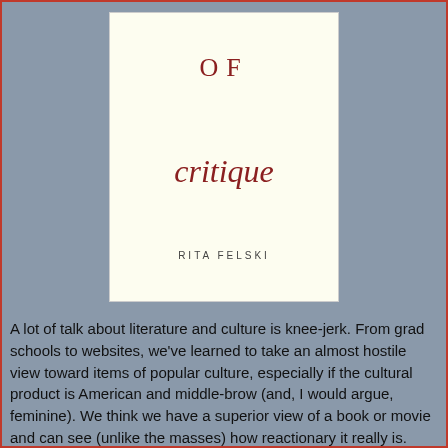[Figure (illustration): Book cover of 'The Limits of Critique' by Rita Felski. Shows 'OF' in spaced serif capitals and 'critique' in red italic script on a cream background, with author name 'RITA FELSKI' in small spaced caps at the bottom.]
A lot of talk about literature and culture is knee-jerk. From grad schools to websites, we've learned to take an almost hostile view toward items of popular culture, especially if the cultural product is American and middle-brow (and, I would argue, feminine). We think we have a superior view of a book or movie and can see (unlike the masses) how reactionary it really is.
This viewpoint is the foundation of critique. It is the approach